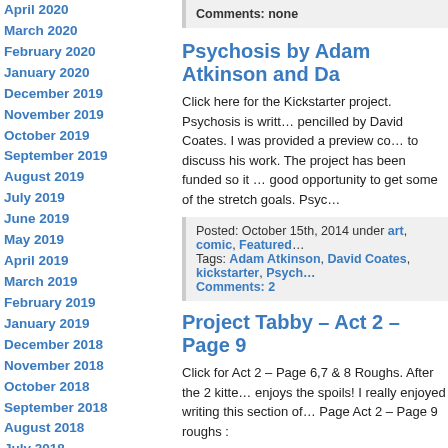April 2020
March 2020
February 2020
January 2020
December 2019
November 2019
October 2019
September 2019
August 2019
July 2019
June 2019
May 2019
April 2019
March 2019
February 2019
January 2019
December 2018
November 2018
October 2018
September 2018
August 2018
July 2018
June 2018
May 2018
Comments: none
Psychosis by Adam Atkinson and Da…
Click here for the Kickstarter project. Psychosis is writt… pencilled by David Coates. I was provided a preview co… to discuss his work. The project has been funded so it … good opportunity to get some of the stretch goals. Psyc…
Posted: October 15th, 2014 under art, comic, Featured…
Tags: Adam Atkinson, David Coates, kickstarter, Psych…
Comments: 2
Project Tabby – Act 2 – Page 9
Click for Act 2 – Page 6,7 & 8 Roughs. After the 2 kitte… enjoys the spoils! I really enjoyed writing this section of… Page Act 2 – Page 9 roughs :
Posted: October 12th, 2014 under art, comic, Featured…
Tags: artwork, fish market, P. R. Dedelis, roughs, Tabb…
Comments: none